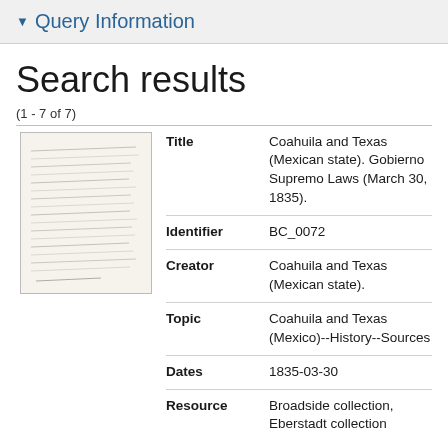Query Information
Search results
(1 - 7 of 7)
|  | Field | Value |
| --- | --- | --- |
| [thumbnail] | Title | Coahuila and Texas (Mexican state). Gobierno Supremo Laws (March 30, 1835). |
|  | Identifier | BC_0072 |
|  | Creator | Coahuila and Texas (Mexican state). |
|  | Topic | Coahuila and Texas (Mexico)--History--Sources |
|  | Dates | 1835-03-30 |
|  | Resource | Broadside collection, Eberstadt collection |